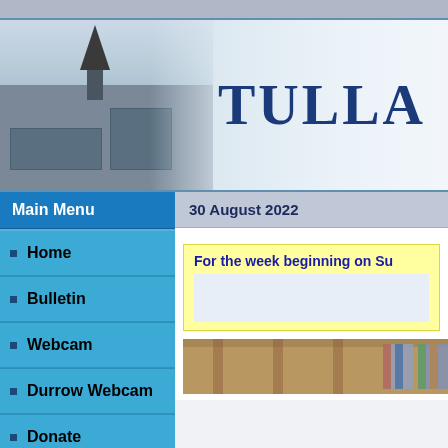[Figure (photo): Header banner showing a church building with a steeple against a blue-gray sky, with the text TULLA partially visible on the right side in large serif font]
Main Menu
30 August 2022
Home
Bulletin
Webcam
Durrow Webcam
Donate
Mass Times
Community Notices
For the week beginning on Su
[Figure (photo): Interior photo of a church showing wooden ceiling beams and stained glass windows]